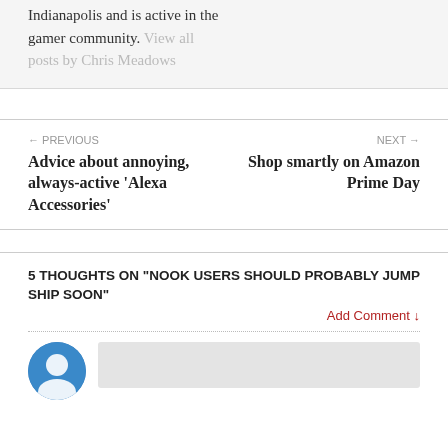Indianapolis and is active in the gamer community. View all posts by Chris Meadows
← PREVIOUS
Advice about annoying, always-active 'Alexa Accessories'
NEXT →
Shop smartly on Amazon Prime Day
5 THOUGHTS ON "NOOK USERS SHOULD PROBABLY JUMP SHIP SOON"
Add Comment ↓
[Figure (illustration): User avatar circle icon in blue with person silhouette]
(comment input box)